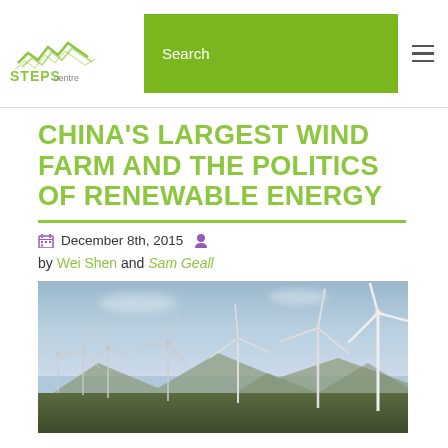STEPS Centre — Search
CHINA'S LARGEST WIND FARM AND THE POLITICS OF RENEWABLE ENERGY
December 8th, 2015
by Wei Shen and Sam Geall
[Figure (photo): A wind farm with multiple wind turbines on a hillside landscape against a blue sky with clouds. Mountains visible in the background.]